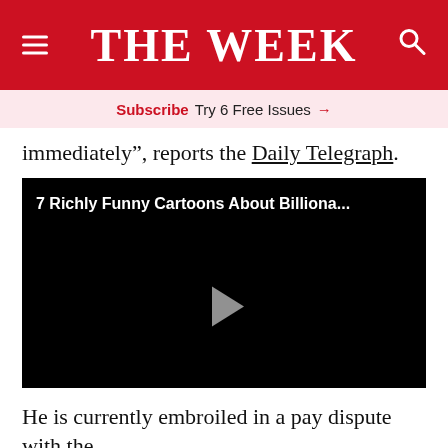THE WEEK
Subscribe  Try 6 Free Issues →
immediately", reports the Daily Telegraph.
[Figure (screenshot): Video thumbnail with black background showing title '7 Richly Funny Cartoons About Billiona...' and a play button in the center]
He is currently embroiled in a pay dispute with the